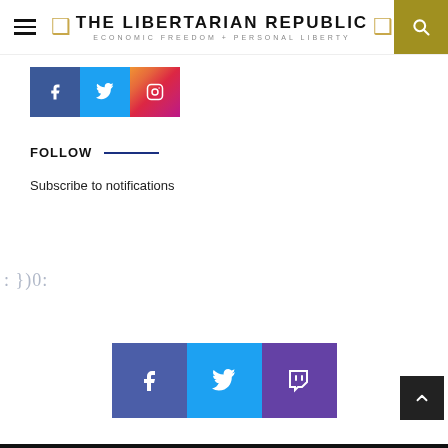THE LIBERTARIAN REPUBLIC — ECONOMIC FREEDOM + PERSONAL LIBERTY
[Figure (logo): Social media buttons: Facebook (blue), Twitter (light blue), Instagram (gradient orange-pink)]
FOLLOW
Subscribe to notifications
: })0:
[Figure (logo): Footer social media buttons: Facebook (blue), Twitter (light blue), Twitch (purple)]